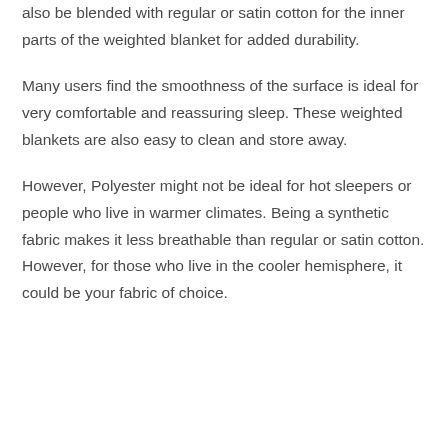also be blended with regular or satin cotton for the inner parts of the weighted blanket for added durability.
Many users find the smoothness of the surface is ideal for very comfortable and reassuring sleep. These weighted blankets are also easy to clean and store away.
However, Polyester might not be ideal for hot sleepers or people who live in warmer climates. Being a synthetic fabric makes it less breathable than regular or satin cotton. However, for those who live in the cooler hemisphere, it could be your fabric of choice.